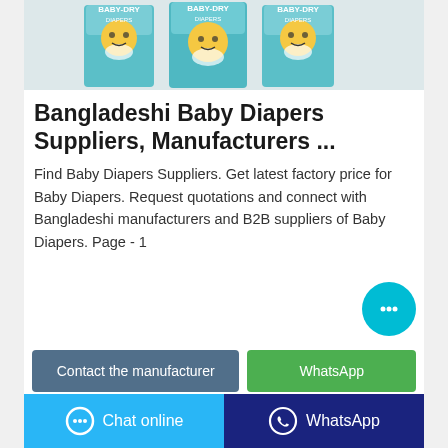[Figure (photo): Product photo showing three boxes of baby dry diapers with cartoon character mascot (yellow bear/chick) on teal/turquoise packaging]
Bangladeshi Baby Diapers Suppliers, Manufacturers ...
Find Baby Diapers Suppliers. Get latest factory price for Baby Diapers. Request quotations and connect with Bangladeshi manufacturers and B2B suppliers of Baby Diapers. Page - 1